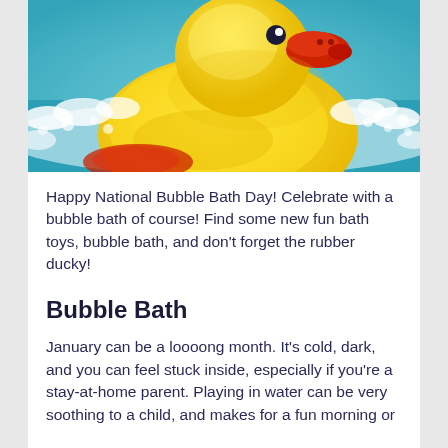[Figure (photo): A yellow rubber duck sitting in a bubble bath with blue water and white foam/bubbles around it. The duck has a red beak and is photographed close-up from slightly above.]
Happy National Bubble Bath Day! Celebrate with a bubble bath of course! Find some new fun bath toys, bubble bath, and don't forget the rubber ducky!
Bubble Bath
January can be a loooong month. It's cold, dark, and you can feel stuck inside, especially if you're a stay-at-home parent. Playing in water can be very soothing to a child, and makes for a fun morning or